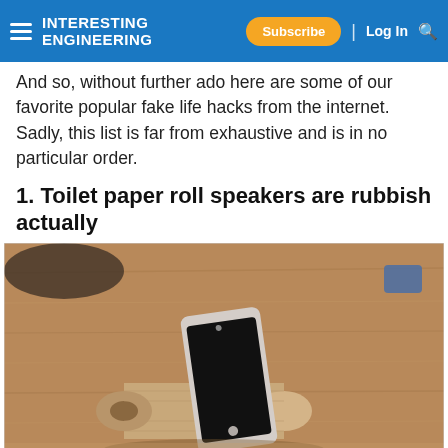INTERESTING ENGINEERING — Subscribe | Log In
And so, without further ado here are some of our favorite popular fake life hacks from the internet. Sadly, this list is far from exhaustive and is in no particular order.
1. Toilet paper roll speakers are rubbish actually
[Figure (photo): A smartphone propped upright on a toilet paper roll acting as a makeshift speaker stand, sitting on a wooden table surface.]
Source: Tiparium/YouTube